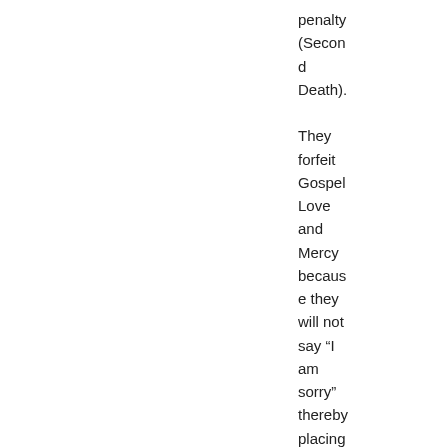penalty (Second Death). They forfeit Gospel Love and Mercy because they will not say “I am sorry” thereby placing